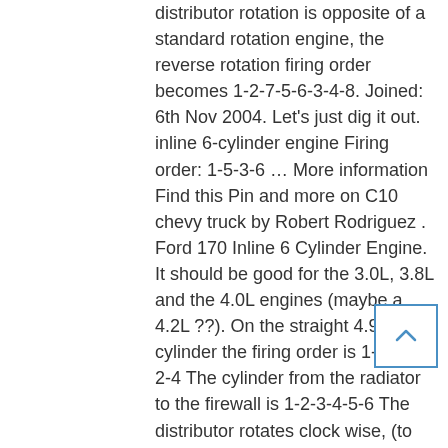distributor rotation is opposite of a standard rotation engine, the reverse rotation firing order becomes 1-2-7-5-6-3-4-8. Joined: 6th Nov 2004. Let's just dig it out. inline 6-cylinder engine Firing order: 1-5-3-6 ... More information Find this Pin and more on C10 chevy truck by Robert Rodriguez . Ford 170 Inline 6 Cylinder Engine. It should be good for the 3.0L, 3.8L and the 4.0L engines (maybe a 4.2L ??). On the straight 4.9 liter 6 cylinder the firing order is 1-5-3-6-2-4 The cylinder from the radiator to the firewall is 1-2-3-4-5-6 The distributor rotates clock wise, (to the right) #1 is towards the brake booster and going clockwise to the right is #5 Ect. Cylinder Firing Order Ford 4.6 By admin On November 22, 2020 Cylinder Firing Order Ford 4.6 – It's vital that you know which bank (or cylinder head) is number 1 to help figure out a beginning point for firing order ... Tech Service The same for the Ford Chevrolet
[Figure (other): A scroll-to-top button with an upward-pointing caret arrow, styled with a blue border.]